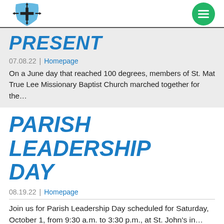[Figure (logo): Church logo: blue shield with black cross and directional arrows, with green circular hamburger menu icon on the right]
PRESENT
07.08.22 | Homepage
On a June day that reached 100 degrees, members of St. Mat True Lee Missionary Baptist Church marched together for the…
PARISH LEADERSHIP DAY
08.19.22 | Homepage
Join us for Parish Leadership Day scheduled for Saturday, October 1, from 9:30 a.m. to 3:30 p.m., at St. John's in…